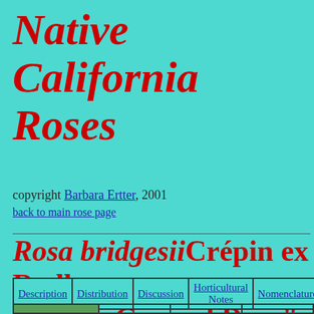Native California Roses
copyright Barbara Ertter, 2001
back to main rose page
Rosa bridgesii Crépin ex Rydberg "Sierra Ground Rose"
| Description | Distribution | Discussion | Horticultural Notes | Nomenclature | L... |
| --- | --- | --- | --- | --- | --- |
[Figure (photo): Photo of Sierra Ground Rose plant in natural habitat]